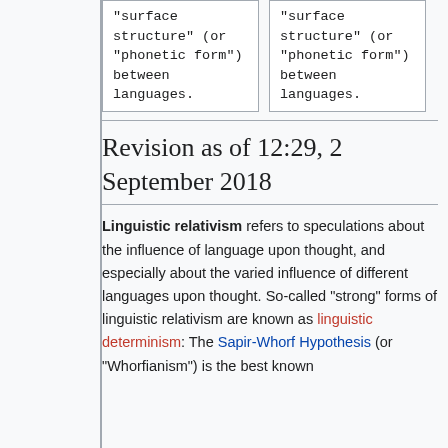| "surface structure" (or "phonetic form") between languages. | "surface structure" (or "phonetic form") between languages. |
Revision as of 12:29, 2 September 2018
Linguistic relativism refers to speculations about the influence of language upon thought, and especially about the varied influence of different languages upon thought. So-called "strong" forms of linguistic relativism are known as linguistic determinism: The Sapir-Whorf Hypothesis (or "Whorfianism") is the best known